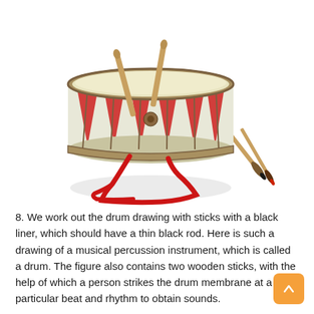[Figure (illustration): Watercolor illustration of a traditional drum with red and white triangular patterns on the body, two wooden drumsticks resting on top, a red strap hanging below, and two paint brushes to the right side.]
8. We work out the drum drawing with sticks with a black liner, which should have a thin black rod. Here is such a drawing of a musical percussion instrument, which is called a drum. The figure also contains two wooden sticks, with the help of which a person strikes the drum membrane at a particular beat and rhythm to obtain sounds.